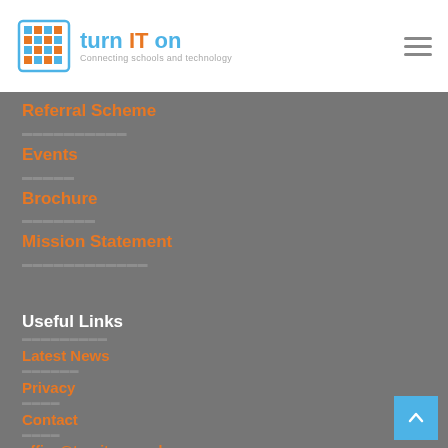turn IT on – Connecting schools and technology
Referral Scheme
Events
Brochure
Mission Statement
Useful Links
Latest News
Privacy
Contact
office@turniton.co.uk
01865 597620